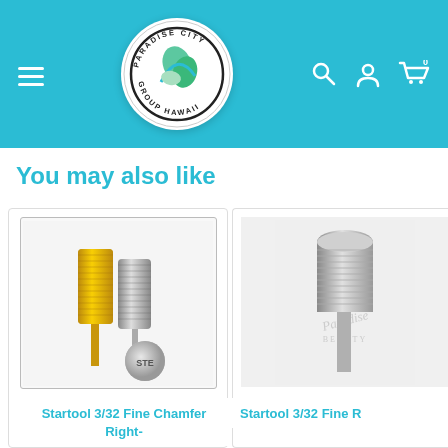[Figure (logo): Paradise City Group Hawaii circular logo with green leaf design on white background, inside a teal/cyan header bar with hamburger menu on left and search, user, cart icons on right]
You may also like
[Figure (photo): Product image showing two nail drill bits (one gold, one silver/gray) with a round disc labeled STE, inside a bordered box]
Startool 3/32 Fine Chamfer Right-
[Figure (photo): Partial product image showing a silver nail drill bit with Paradise branding watermark]
Startool 3/32 Fine R